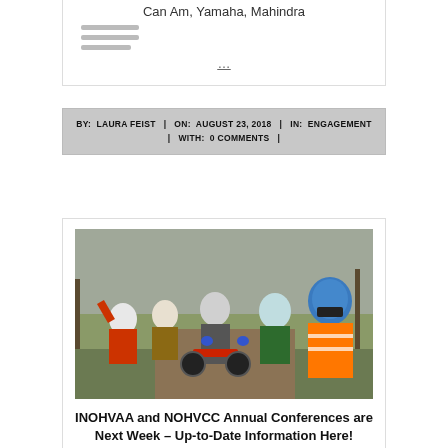Can Am, Yamaha, Mahindra
...
BY: LAURA FEIST | ON: AUGUST 23, 2018 | IN: ENGAGEMENT | WITH: 0 COMMENTS |
[Figure (photo): Group of motorcycle riders in helmets and riding gear, posing with their dirt bikes on a grassy trail. One rider in an orange safety vest is prominent in the foreground.]
INOHVAA and NOHVCC Annual Conferences are Next Week – Up-to-Date Information Here!